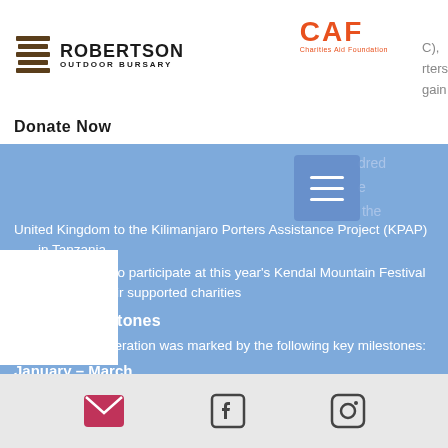[Figure (logo): Robertson Outdoor Bursary logo with stacked lines graphic and text]
[Figure (logo): CAF Charities Aid Foundation logo in orange]
C),
rters
gain
Donate Now
dred
e
the
United Kingdom to the Kilimanjaro Porters Assistance Project (KPAP) in Tanzania
3. Being invited to participate at this year's Kendal Mountain Festival as one of their supported charities
2.1 Key Milestones
This period of operation was marked by the following key milestones:
January – March
Email | Facebook | Instagram icons